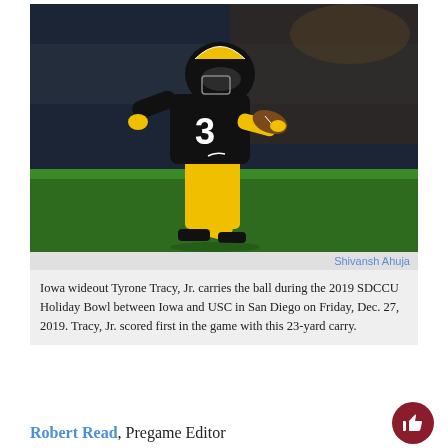[Figure (photo): Iowa wideout Tyrone Tracy Jr. wearing black and yellow jersey number 3, running with a football during the 2019 SDCCU Holiday Bowl.]
Shivansh Ahuja
Iowa wideout Tyrone Tracy, Jr. carries the ball during the 2019 SDCCU Holiday Bowl between Iowa and USC in San Diego on Friday, Dec. 27, 2019. Tracy, Jr. scored first in the game with this 23-yard carry.
Robert Read, Pregame Editor